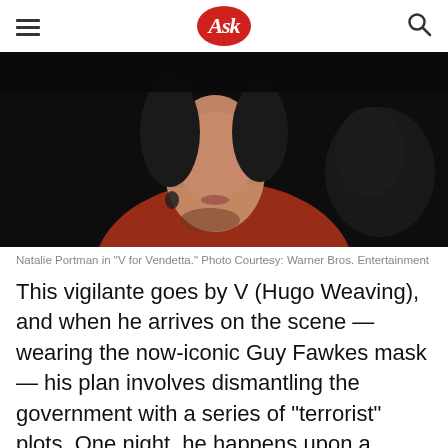Ask
[Figure (photo): Close-up of Natalie Portman as Evey in 'V for Vendetta', wearing a reddish-orange top, dark background, a gloved hand visible at the right edge]
Natalie Portman in “V for Vendetta.” Photo Courtesy: Warner Bros. Entertainment
This vigilante goes by V (Hugo Weaving), and when he arrives on the scene — wearing the now-iconic Guy Fawkes mask — his plan involves dismantling the government with a series of “terrorist” plots. One night, he happens upon a young woman named Evey (Natalie Portman) and, just in time, saves her from being attacked by the secret police. Little does V